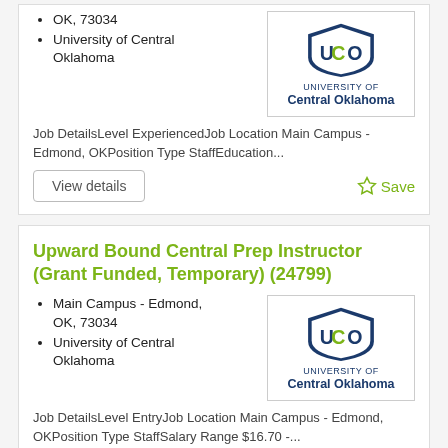OK, 73034
University of Central Oklahoma
[Figure (logo): University of Central Oklahoma (UCO) logo with shield emblem and text]
Job DetailsLevel ExperiencedJob Location Main Campus - Edmond, OKPosition Type StaffEducation...
Upward Bound Central Prep Instructor (Grant Funded, Temporary) (24799)
Main Campus - Edmond, OK, 73034
University of Central Oklahoma
[Figure (logo): University of Central Oklahoma (UCO) logo with shield emblem and text]
Job DetailsLevel EntryJob Location Main Campus - Edmond, OKPosition Type StaffSalary Range $16.70 -...